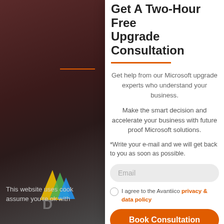[Figure (screenshot): Dark brownish-red background left panel with a partially visible Microsoft colorful logo (triangular sailboat shapes in yellow, green, blue) and a cookie notice at the bottom]
Get A Two-Hour Free Upgrade Consultation
Get help from our Microsoft upgrade experts who understand your business.
Make the smart decision and accelerate your business with future proof Microsoft solutions.
*Write your e-mail and we will get back to you as soon as possible.
Email
I agree to the Avantiico privacy & data policy
Book Consultation
This website uses cook assume you're ok with